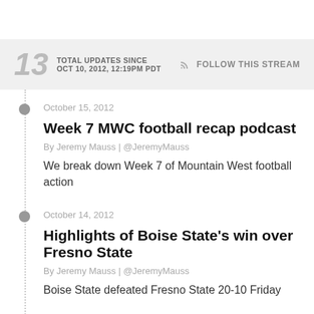13 TOTAL UPDATES SINCE OCT 10, 2012, 12:19PM PDT | FOLLOW THIS STREAM
October 15, 2012
Week 7 MWC football recap podcast
By Jeremy Mauss | @JeremyMauss
We break down Week 7 of Mountain West football action
October 14, 2012
Highlights of Boise State's win over Fresno State
By Jeremy Mauss | @JeremyMauss
Boise State defeated Fresno State 20-10 Friday